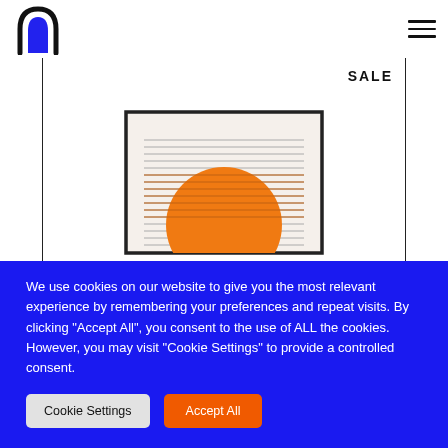[Figure (logo): Black arch/doorway logo with a blue filled arch shape inside]
SALE
[Figure (illustration): Framed artwork showing orange semi-circle sun rising behind horizontal striped lines on a light background]
We use cookies on our website to give you the most relevant experience by remembering your preferences and repeat visits. By clicking "Accept All", you consent to the use of ALL the cookies. However, you may visit "Cookie Settings" to provide a controlled consent.
Cookie Settings
Accept All